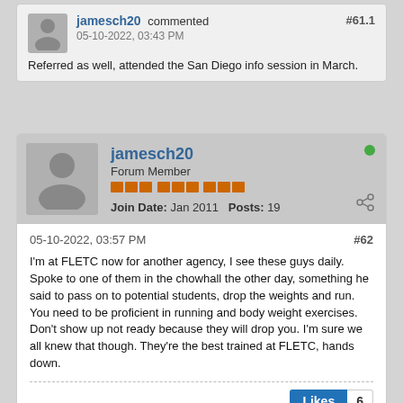jamesch20 commented #61.1 05-10-2022, 03:43 PM
Referred as well, attended the San Diego info session in March.
jamesch20 Forum Member Join Date: Jan 2011 Posts: 19
05-10-2022, 03:57 PM #62
I'm at FLETC now for another agency, I see these guys daily. Spoke to one of them in the chowhall the other day, something he said to pass on to potential students, drop the weights and run. You need to be proficient in running and body weight exercises. Don't show up not ready because they will drop you. I'm sure we all knew that though. They're the best trained at FLETC, hands down.
Likes 6
1 comment